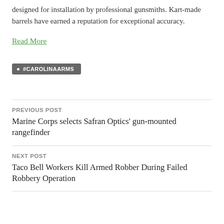designed for installation by professional gunsmiths. Kart-made barrels have earned a reputation for exceptional accuracy.
Read More
#CAROLINAARMS
PREVIOUS POST
Marine Corps selects Safran Optics' gun-mounted rangefinder
NEXT POST
Taco Bell Workers Kill Armed Robber During Failed Robbery Operation